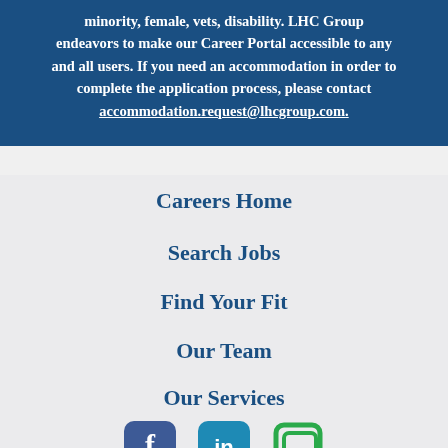minority, female, vets, disability. LHC Group endeavors to make our Career Portal accessible to any and all users. If you need an accommodation in order to complete the application process, please contact accommodation.request@lhcgroup.com.
Careers Home
Search Jobs
Find Your Fit
Our Team
Our Services
[Figure (illustration): Three social media icons: Facebook (blue rounded square), LinkedIn (teal rounded square), and a green square outline icon]